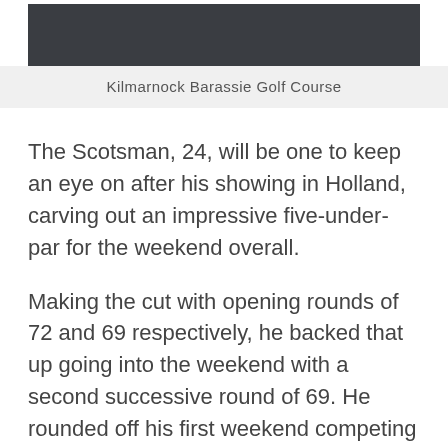[Figure (photo): Dark/black image area representing a photo of Kilmarnock Barassie Golf Course]
Kilmarnock Barassie Golf Course
The Scotsman, 24, will be one to keep an eye on after his showing in Holland, carving out an impressive five-under-par for the weekend overall.
Making the cut with opening rounds of 72 and 69 respectively, he backed that up going into the weekend with a second successive round of 69. He rounded off his first weekend competing on the European Tour as a